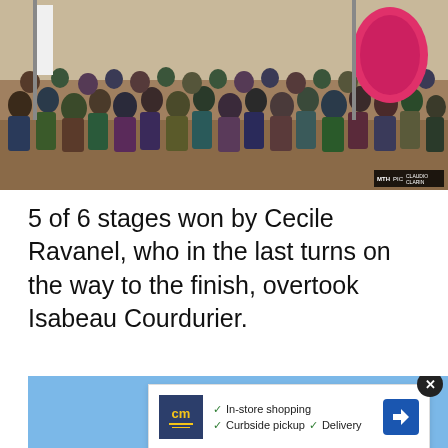[Figure (photo): Crowd of spectators watching a mountain bike race on a dirt hillside. A pink teardrop-shaped sponsor banner is visible on the right. Watermark reading 'MTH PIC CLAUDIO CLARIN' in bottom right corner.]
5 of 6 stages won by Cecile Ravanel, who in the last turns on the way to the finish, overtook Isabeau Courdurier.
[Figure (photo): A hang glider or similar aircraft with blue and yellow-green wings flying against a clear blue sky. An advertisement overlay is visible at the bottom with a close (X) button, showing a 'cm' logo with checkmarks for 'In-store shopping', 'Curbside pickup', and 'Delivery', plus a blue arrow/navigation icon. Below are a play icon and an X icon.]